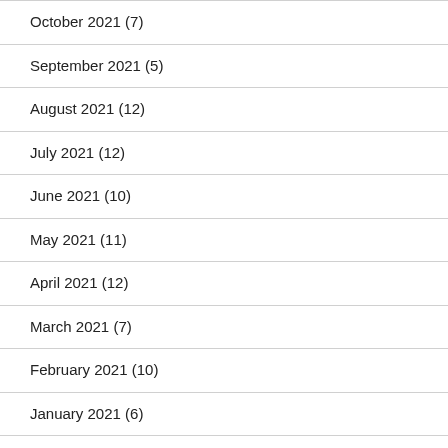October 2021 (7)
September 2021 (5)
August 2021 (12)
July 2021 (12)
June 2021 (10)
May 2021 (11)
April 2021 (12)
March 2021 (7)
February 2021 (10)
January 2021 (6)
December 2020 (10)
November 2020 (15)